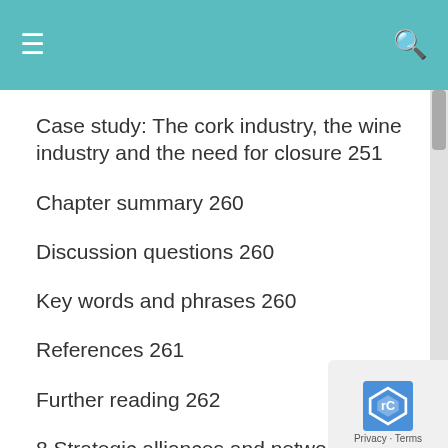Case study: The cork industry, the wine industry and the need for closure 251
Chapter summary 260
Discussion questions 260
Key words and phrases 260
References 261
Further reading 262
8 Strategic alliances and networks 264